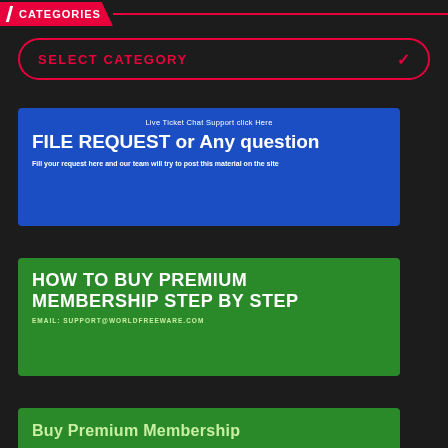CATEGORIES
SELECT CATEGORY
[Figure (infographic): Blue banner with text: 'Live Ticket Chat Support click Here', 'FILE REQUEST or Any question', 'Fill your request here and our team will try to post this material on the site']
[Figure (infographic): Green banner with text: 'HOW TO BUY PREMIUM MEMBERSHIP STEP BY STEP', 'EMAIL: SUPPORT@WORLDFREEWARE.COM']
[Figure (infographic): Green banner with text: 'Buy Premium Membership']